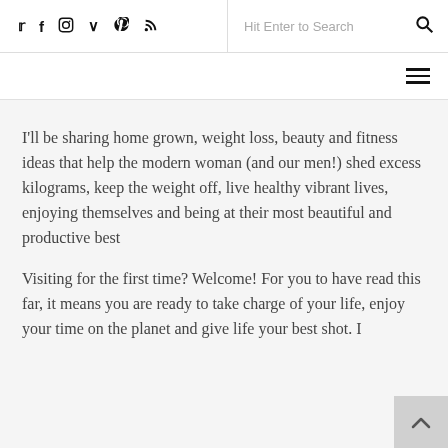Social icons: Twitter, Facebook, Instagram, Vimeo, Pinterest, RSS | Search bar: Hit Enter to Search | Hamburger menu
I'll be sharing home grown, weight loss, beauty and fitness ideas that help the modern woman (and our men!) shed excess kilograms, keep the weight off, live healthy vibrant lives, enjoying themselves and being at their most beautiful and productive best
Visiting for the first time? Welcome! For you to have read this far, it means you are ready to take charge of your life, enjoy your time on the planet and give life your best shot. I